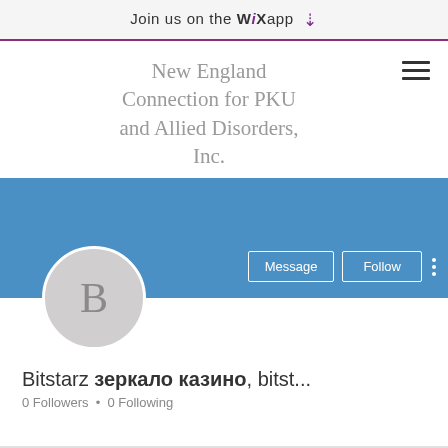Join us on the WiX app ⬇
New England Connection for PKU and Allied Disorders, Inc.
[Figure (screenshot): Blue profile banner with Message and Follow buttons and a three-dot menu icon]
[Figure (illustration): Circular avatar with letter B on light grey background]
Bitstarz зеркало казино, bitst...
0 Followers • 0 Following